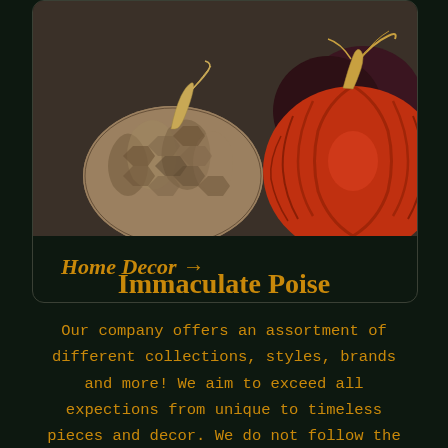[Figure (photo): Photo of decorative pumpkins: a textured brown/beige pumpkin on the left and a large orange velvet-style pumpkin on the right, placed on a dark surface.]
Home Decor →
Immaculate Poise
Our company offers an assortment of different collections, styles, brands and more! We aim to exceed all expections from unique to timeless pieces and decor. We do not follow the trends, we lead them